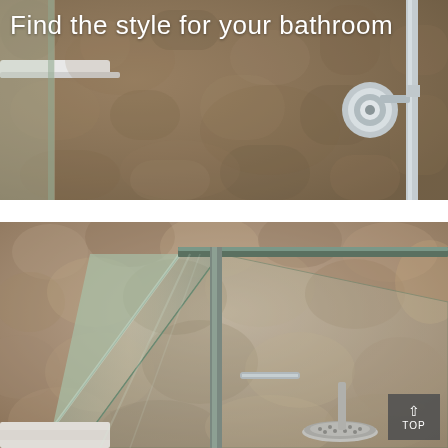[Figure (photo): Top portion of a bathroom with a shower enclosure, chrome fixture/valve on the right, and a white shelf/rail visible at the top left. The background shows a brownish-gold tiled or textured wall.]
Find the style for your bathroom
[Figure (photo): Close-up of a frameless glass shower enclosure corner with thick glass panels, a vertical chrome/steel bar, and a round overhead rain shower head visible in the background. The walls have a textured stone or pebble-like surface in warm beige/brown tones.]